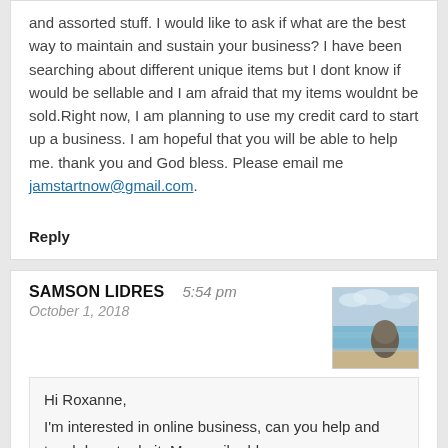and assorted stuff. I would like to ask if what are the best way to maintain and sustain your business? I have been searching about different unique items but I dont know if would be sellable and I am afraid that my items wouldnt be sold.Right now, I am planning to use my credit card to start up a business. I am hopeful that you will be able to help me. thank you and God bless. Please email me jamstartnow@gmail.com.
Reply
SAMSON LIDRES   5:54 pm
October 1, 2018
Hi Roxanne,
I'm interested in online business, can you help and teach how to do it. My email address:
lidres_samson@yahoo.com.ph CP# 09279477333
Thank you.
[Figure (photo): Small landscape photo showing a beach scene with rocks and calm blue water]